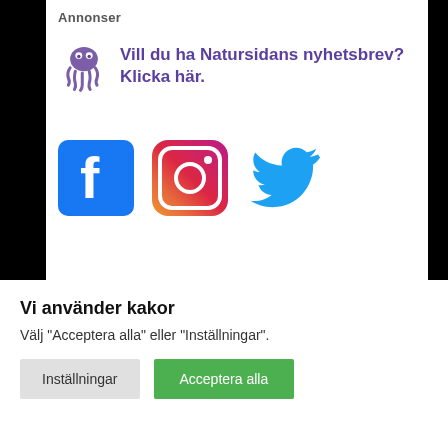Annonser
[Figure (illustration): Advertisement banner with purple octopus icon and text 'Vill du ha Natursidans nyhetsbrev? Klicka här.' in purple bold font]
[Figure (illustration): Social media icons: Facebook (blue square with f), Instagram (gradient camera icon), Twitter (blue bird icon)]
Senaste
› Så skulle Sveriges natur se ut om den
Vi använder kakor
Välj "Acceptera alla" eller "Inställningar".
Inställningar
Acceptera alla